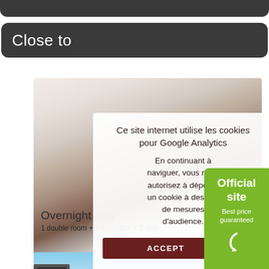Close to
[Figure (photo): Hotel room with white bed and sleeping person, partially overlaid by cookie consent modal and official site badge]
Ce site internet utilise les cookies pour Google Analytics
En continuant à naviguer, vous nous autorisez à déposer un cookie à des fins de mesures d'audience.
ACCEPT
OPT
Official site
Best price guaranteed
Overnight stay
1 double room + 1 breakfast + 1 dinn
[Figure (photo): Photo of legs in pink shoes sticking out of a car window against a blue sky background]